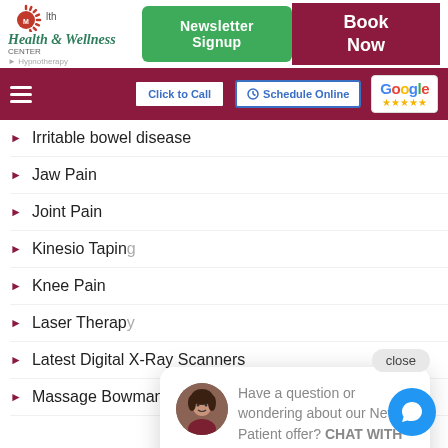Muskego Health & Wellness Center - Newsletter Signup | Book Now | Click to Call | Schedule Online | Google Reviews
Irritable bowel disease
Jaw Pain
Joint Pain
Kinesio Taping
Knee Pain
Laser Therapy
Latest Digital X-Ray Scanners
Massage Bowmanville
[Figure (other): Chat popup with avatar photo of female staff member and text: Have a question or wondering about our New Patient offer? CHAT WITH US HERE! with a close button and blue chat icon button]
Have a question or wondering about our New Patient offer? CHAT WITH US HERE!